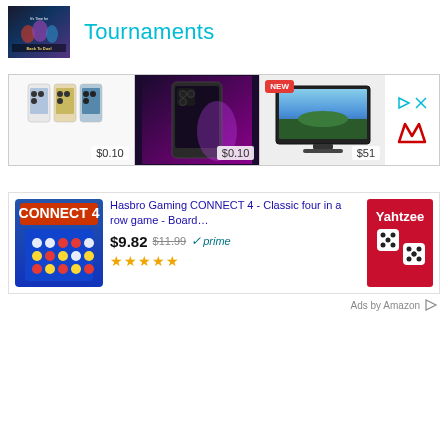[Figure (illustration): Tournament promotional banner image with dark superhero theme - Back to Duel text visible]
Tournaments
[Figure (photo): Advertisement banner showing three product images: iPhone 12 Pro models for $0.10, iPhone 13 Pro for $0.10, and a Smart TV for $51 with NEW badge. Side panel shows ad controls and MediaMarkt logo.]
[Figure (photo): Connect 4 board game box - Hasbro product image]
Hasbro Gaming CONNECT 4 - Classic four in a row game - Board…
$9.82  $11.99  prime  ★★★★★
[Figure (photo): Yahtzee board game box - partial view on right side]
Ads by Amazon